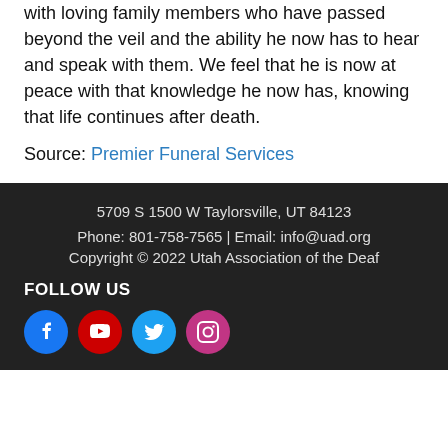with loving family members who have passed beyond the veil and the ability he now has to hear and speak with them. We feel that he is now at peace with that knowledge he now has, knowing that life continues after death.
Source: Premier Funeral Services
5709 S 1500 W Taylorsville, UT 84123
Phone: 801-758-7565 | Email: info@uad.org
Copyright © 2022 Utah Association of the Deaf
FOLLOW US
[Figure (other): Social media icons: Facebook (blue circle), YouTube (red circle), Twitter (light blue circle), Instagram (pink/purple circle)]